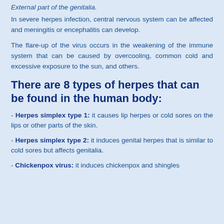External part of the genitalia.
In severe herpes infection, central nervous system can be affected and meningitis or encephalitis can develop.
The flare-up of the virus occurs in the weakening of the immune system that can be caused by overcooling, common cold and excessive exposure to the sun, and others.
There are 8 types of herpes that can be found in the human body:
- Herpes simplex type 1: it causes lip herpes or cold sores on the lips or other parts of the skin.
- Herpes simplex type 2: it induces genital herpes that is similar to cold sores but affects genitalia.
- Chickenpox virus: it induces chickenpox and shingles